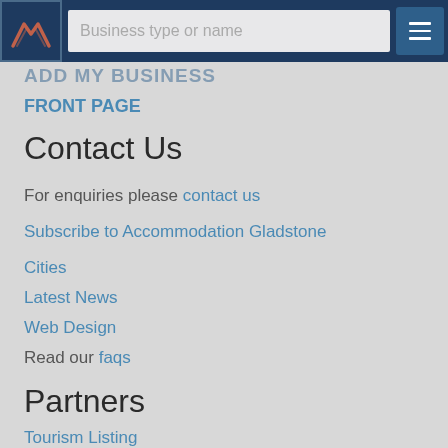[Figure (screenshot): Website header with logo (mountain icon), search bar with placeholder 'Business type or name', and hamburger menu button]
ADD MY BUSINESS
FRONT PAGE
Contact Us
For enquiries please contact us
Subscribe to Accommodation Gladstone
Cities
Latest News
Web Design
Read our faqs
Partners
Tourism Listing
Tourism Listing Partners